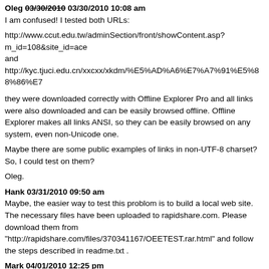Oleg 03/30/2010 10:08 am
I am confused! I tested both URLs:
http://www.ccut.edu.tw/adminSection/front/showContent.asp?m_id=108&site_id=ace
and
http://kyc.tjuci.edu.cn/xxcxx/xkdm/%E5%AD%A6%E7%A7%91%E5%88%86%E7
they were downloaded correctly with Offline Explorer Pro and all links were also downloaded and can be easily browsed offline. Offline Explorer makes all links ANSI, so they can be easily browsed on any system, even non-Unicode one.
Maybe there are some public examples of links in non-UTF-8 charset? So, I could test on them?
Oleg.
Hank 03/31/2010 09:50 am
Maybe, the easier way to test this problom is to build a local web site. The necessary files have been uploaded to rapidshare.com. Please download them from "http://rapidshare.com/files/370341167/OEETEST.rar.html" and follow the steps described in readme.txt .
Mark 04/01/2010 12:25 pm
Oh, the archieve's password is OEETEST.
Oleg 04/01/2010 01:06 pm
Yes, I just started testing it - unpacked and read the readme.txt file.